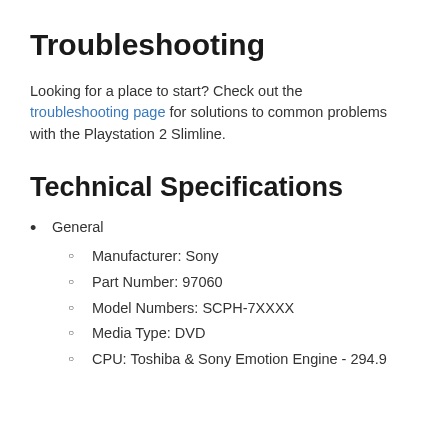Troubleshooting
Looking for a place to start? Check out the troubleshooting page for solutions to common problems with the Playstation 2 Slimline.
Technical Specifications
General
Manufacturer: Sony
Part Number: 97060
Model Numbers: SCPH-7XXXX
Media Type: DVD
CPU: Toshiba & Sony Emotion Engine - 294.9